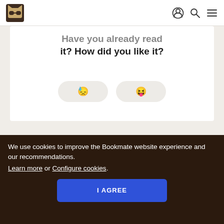Bookmate header with logo and navigation icons
Have you already read it? How did you like it?
[Figure (other): Two pill-shaped buttons with emoji/icon symbols for rating]
Impressions
Kaloraq shared an impression • 2 years ago
We use cookies to improve the Bookmate website experience and our recommendations. Learn more or Configure cookies.
I AGREE